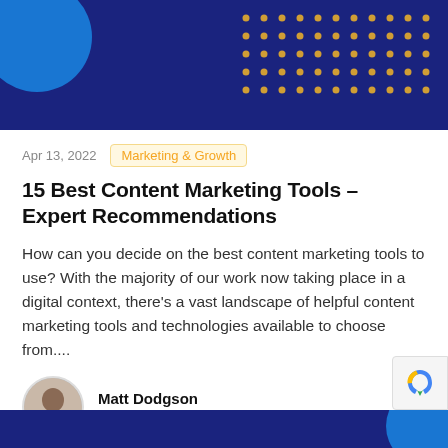[Figure (illustration): Dark navy blue header banner with a bright blue circle in the top-left corner and a grid of gold/yellow dots in the top-right area]
Apr 13, 2022
Marketing & Growth
15 Best Content Marketing Tools – Expert Recommendations
How can you decide on the best content marketing tools to use? With the majority of our work now taking place in a digital context, there's a vast landscape of helpful content marketing tools and technologies available to choose from....
Matt Dodgson
Co-Founder - Recruiter & Marketer
[Figure (illustration): Dark navy blue footer banner with a bright blue circle in the bottom-right corner]